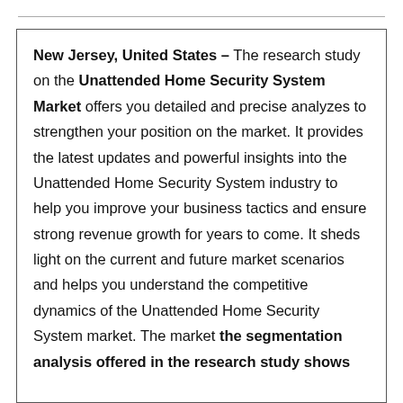New Jersey, United States – The research study on the Unattended Home Security System Market offers you detailed and precise analyzes to strengthen your position on the market. It provides the latest updates and powerful insights into the Unattended Home Security System industry to help you improve your business tactics and ensure strong revenue growth for years to come. It sheds light on the current and future market scenarios and helps you understand the competitive dynamics of the Unattended Home Security System market. The market the segmentation analysis offered in the research study shows